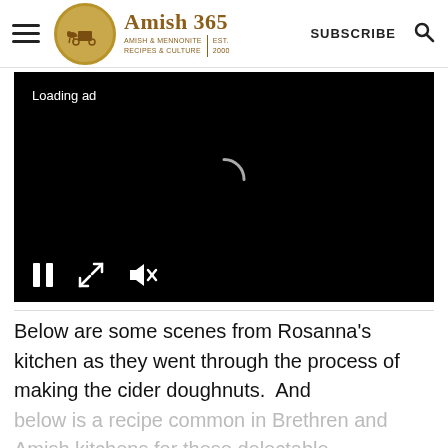Amish 365 — AMISH & MENNONITE RECIPES & CULTURE | EST. 2000 | SUBSCRIBE
[Figure (screenshot): Black video player showing 'Loading ad' text at top left, a circular spinner in the center, and video controls (pause, fullscreen, mute) at the bottom left.]
Below are some scenes from Rosanna's kitchen as they went through the process of making the cider doughnuts.  And below is a recipe common in Brethren and Amish kitchens for these delectable